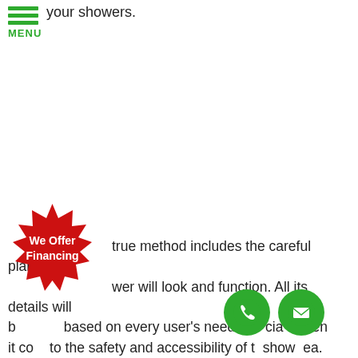[Figure (infographic): Green hamburger menu icon with three horizontal green lines and the word MENU in green below]
your showers.
[Figure (infographic): Red starburst badge with white bold text reading 'We Offer Financing']
true method includes the careful planning of wer will look and function. All its details will b based on every user's needs cia en it co to the safety and accessibility of t show ea.
[Figure (infographic): Green circle phone icon]
[Figure (infographic): Green circle mail/envelope icon]